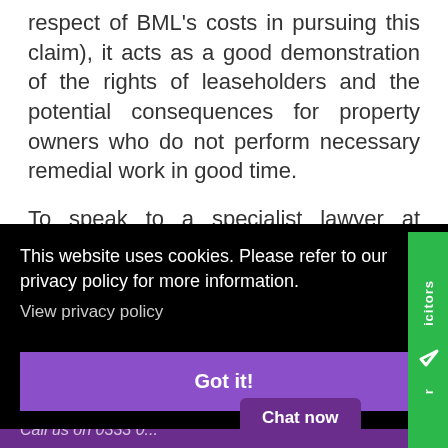respect of BML's costs in pursuing this claim), it acts as a good demonstration of the rights of leaseholders and the potential consequences for property owners who do not perform necessary remedial work in good time.
To speak to a specialist lawyer at Farleys please … us via
[Figure (screenshot): Cookie consent overlay on a law firm website. Black background overlay containing white text: 'This website uses cookies. Please refer to our privacy policy for more information.' with a grey 'View privacy policy' link and a purple 'Got it!' button. A green 'reviewsolicitors' sidebar badge is visible on the right. A purple 'Chat now' button and partial purple call bar are at the bottom.]